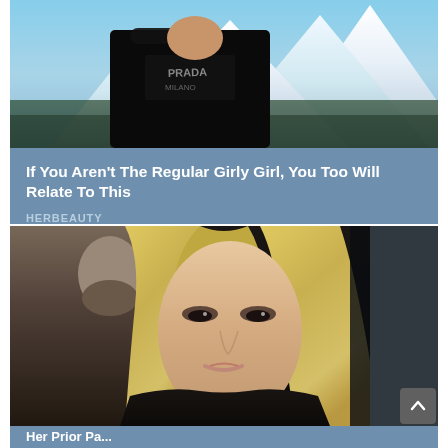[Figure (photo): Woman wearing black Prada turtleneck and sunglasses posing in front of snow-capped mountains]
If You Aren't The Regular Girly Girl, You Too Will Relate To This
HERBEAUTY
[Figure (photo): Blonde woman with long hair and heavy eye makeup next to a man in a black shirt]
Her Prior Pa...